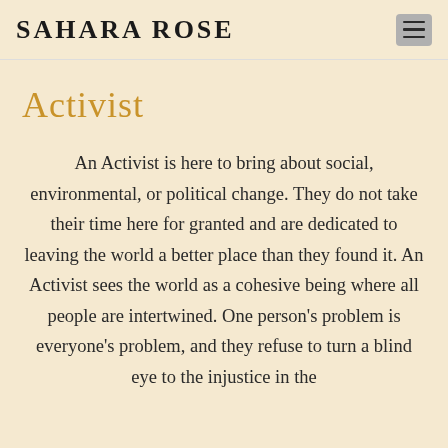SAHARA ROSE
Activist
An Activist is here to bring about social, environmental, or political change. They do not take their time here for granted and are dedicated to leaving the world a better place than they found it. An Activist sees the world as a cohesive being where all people are intertwined. One person's problem is everyone's problem, and they refuse to turn a blind eye to the injustice in the